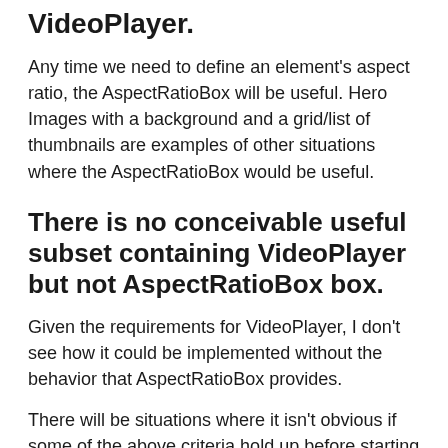VideoPlayer.
Any time we need to define an element's aspect ratio, the AspectRatioBox will be useful. Hero Images with a background and a grid/list of thumbnails are examples of other situations where the AspectRatioBox would be useful.
There is no conceivable useful subset containing VideoPlayer but not AspectRatioBox box.
Given the requirements for VideoPlayer, I don't see how it could be implemented without the behavior that AspectRatioBox provides.
There will be situations where it isn't obvious if some of the above criteria hold up before starting the implementation. The same can be